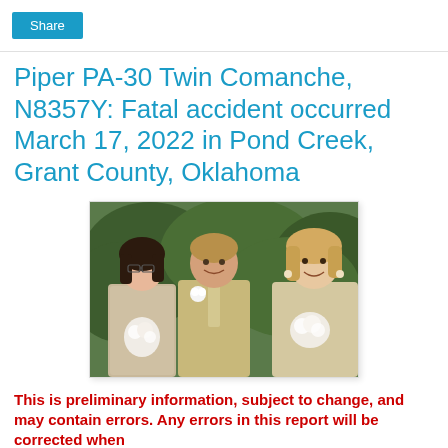Share
Piper PA-30 Twin Comanche, N8357Y: Fatal accident occurred March 17, 2022 in Pond Creek, Grant County, Oklahoma
[Figure (photo): Photo of three people dressed in formal/wedding attire — two women and one man — smiling outdoors against a green leafy background. The women hold white flowers.]
This is preliminary information, subject to change, and may contain errors. Any errors in this report will be corrected when